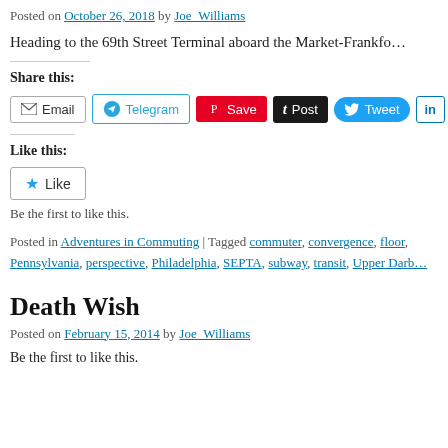Posted on October 26, 2018 by Joe_Williams
Heading to the 69th Street Terminal aboard the Market-Frankfo…
Share this:
[Figure (other): Social share buttons: Email, Telegram, Save (Pinterest), Post (Tumblr), Tweet (Twitter), LinkedIn]
Like this:
[Figure (other): Like button with star icon]
Be the first to like this.
Posted in Adventures in Commuting | Tagged commuter, convergence, floor, Pennsylvania, perspective, Philadelphia, SEPTA, subway, transit, Upper Darb…
Death Wish
Posted on February 15, 2014 by Joe_Williams
Be the first to like this.